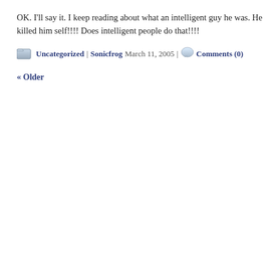OK. I'll say it. I keep reading about what an intelligent guy he was. He killed him self!!!! Does intelligent people do that!!!!
Uncategorized | Sonicfrog March 11, 2005 | Comments (0)
« Older